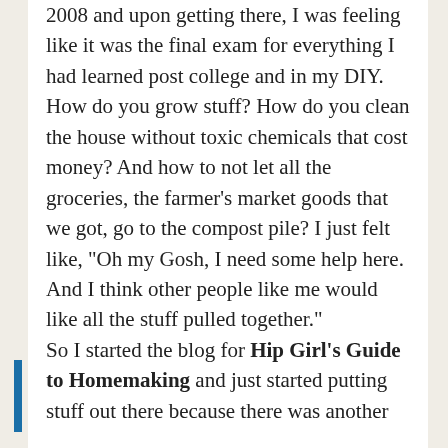2008 and upon getting there, I was feeling like it was the final exam for everything I had learned post college and in my DIY. How do you grow stuff? How do you clean the house without toxic chemicals that cost money? And how to not let all the groceries, the farmer’s market goods that we got, go to the compost pile? I just felt like, “Oh my Gosh, I need some help here. And I think other people like me would like all the stuff pulled together.”
So I started the blog for Hip Girl’s Guide to Homemaking and just started putting stuff out there because there was another